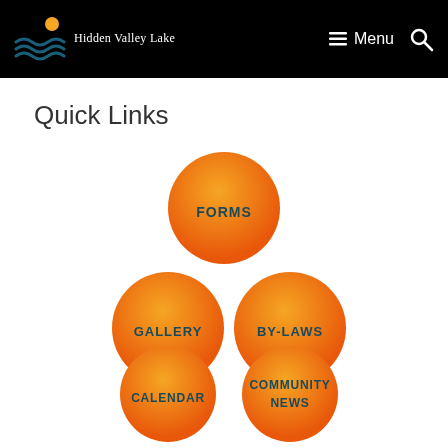Hidden Valley Lake — Menu (navigation bar)
Quick Links
[Figure (infographic): Five orange gradient circles arranged in a pyramid: FORMS on top, GALLERY and BY-LAWS in the middle row, CALENDAR and COMMUNITY NEWS in the bottom row.]